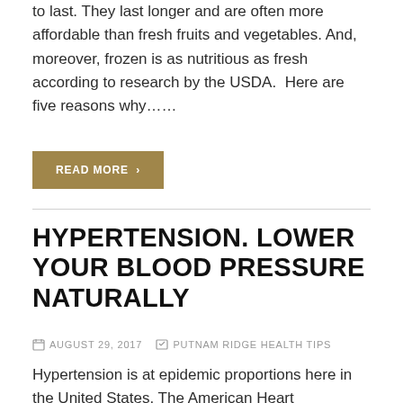to last. They last longer and are often more affordable than fresh fruits and vegetables. And, moreover, frozen is as nutritious as fresh according to research by the USDA.  Here are five reasons why……
READ MORE ›
HYPERTENSION. LOWER YOUR BLOOD PRESSURE NATURALLY
AUGUST 29, 2017   PUTNAM RIDGE HEALTH TIPS
Hypertension is at epidemic proportions here in the United States. The American Heart Association says that 25 per cent of American men between the ages of